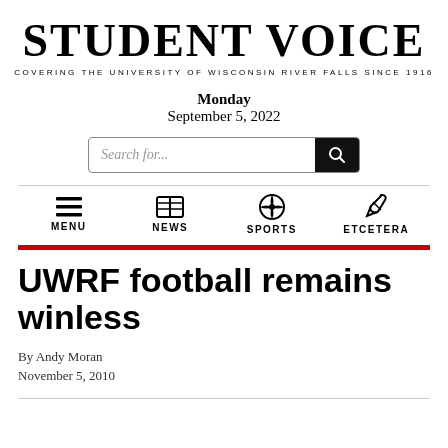STUDENT VOICE
COVERING THE UNIVERSITY OF WISCONSIN RIVER FALLS SINCE 1916
Monday
September 5, 2022
[Figure (screenshot): Search bar with text 'Search for...' and a black magnifying glass button]
[Figure (infographic): Navigation bar with four items: MENU (hamburger icon), NEWS (newspaper icon), SPORTS (soccer ball icon), ETCETERA (paperclip icon)]
UWRF football remains winless
By Andy Moran
November 5, 2010